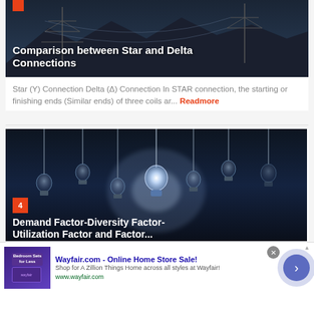[Figure (photo): Power transmission tower against mountain skyline, dark blue sky background with text overlay]
Comparison between Star and Delta Connections
Star (Y) Connection Delta (Δ) Connection In STAR connection, the starting or finishing ends (Similar ends) of three coils ar... Readmore
[Figure (photo): Multiple hanging light bulbs against dark blue background, one central bulb lit brightly, with number badge 4 and partial title text]
Demand Factor-Diversity Factor-
Wayfair.com - Online Home Store Sale!
Shop for A Zillion Things Home across all styles at Wayfair!
www.wayfair.com